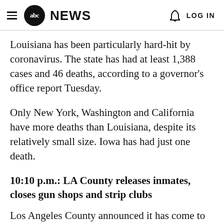abc NEWS | LOG IN
Louisiana has been particularly hard-hit by coronavirus. The state has had at least 1,388 cases and 46 deaths, according to a governor’s office report Tuesday.
Only New York, Washington and California have more deaths than Louisiana, despite its relatively small size. Iowa has had just one death.
10:10 p.m.: LA County releases inmates, closes gun shops and strip clubs
Los Angeles County announced it has come to